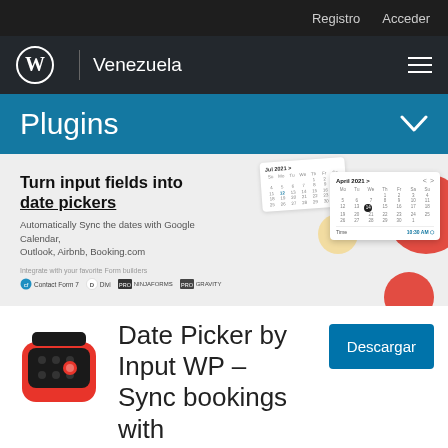Registro  Acceder
WordPress | Venezuela
Plugins
[Figure (screenshot): Promotional banner showing date picker calendar UI with two overlapping calendars (July 2021 and April 2021), a time selector showing 10:30 AM, and a red circular decorative element. Text reads: Turn input fields into date pickers. Automatically Sync the dates with Google Calendar, Outlook, Airbnb, Booking.com. Integration logos: Contact Form 7, Divi, Ninja Forms PRO, Gravity PRO.]
[Figure (logo): Date Picker by Input WP plugin icon: red robot/device face with dot matrix display and red circular eye on dark rounded square body]
Date Picker by Input WP – Sync bookings with
Descargar